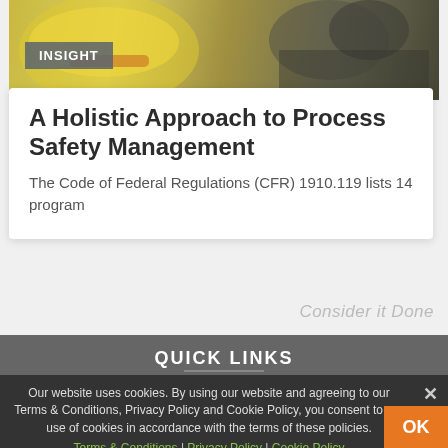[Figure (photo): Yellow hard hat and industrial equipment background photo with an INSIGHT label badge overlaid]
A Holistic Approach to Process Safety Management
The Code of Federal Regulations (CFR) 1910.119 lists 14 program
Consider it Done
QUICK LINKS
Our website uses cookies. By using our website and agreeing to our Terms & Conditions, Privacy Policy and Cookie Policy, you consent to our use of cookies in accordance with the terms of these policies.
Terms & Conditions | Privacy Policy | Cookie Policy
CAREERS